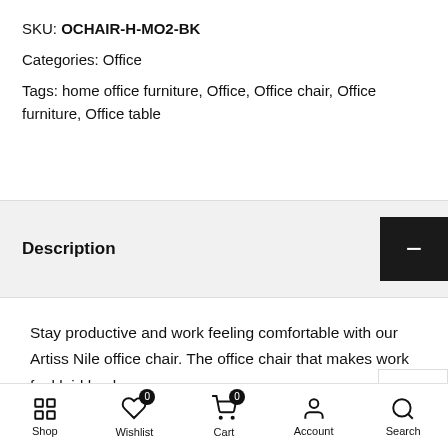SKU: OCHAIR-H-MO2-BK
Categories: Office
Tags: home office furniture, Office, Office chair, Office furniture, Office table
Description
Stay productive and work feeling comfortable with our Artiss Nile office chair. The office chair that makes work feel laid back.
The more ergonomic chair the higher is the productivity
Shop  Wishlist  Cart  Account  Search